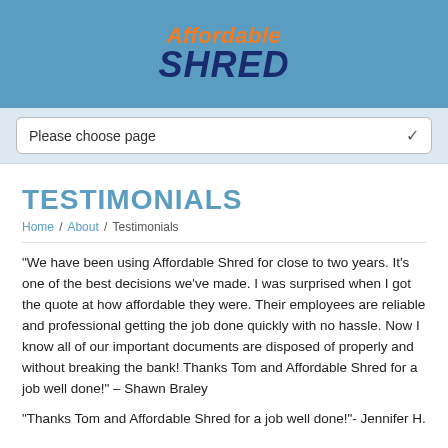[Figure (logo): Affordable Shred logo with orange italic 'Affordable' text and dark blue bold italic 'SHRED' text on a blue background]
Please choose page
TESTIMONIALS
Home / About / Testimonials
“We have been using Affordable Shred for close to two years. It’s one of the best decisions we’ve made. I was surprised when I got the quote at how affordable they were. Their employees are reliable and professional getting the job done quickly with no hassle. Now I know all of our important documents are disposed of properly and without breaking the bank! Thanks Tom and Affordable Shred for a job well done!” – Shawn Braley
“Thanks Tom and Affordable Shred for a job well done!”- Jennifer H.